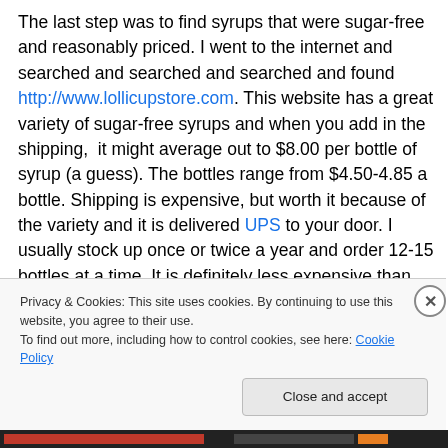The last step was to find syrups that were sugar-free and reasonably priced. I went to the internet and searched and searched and searched and found http://www.lollicupstore.com. This website has a great variety of sugar-free syrups and when you add in the shipping,  it might average out to $8.00 per bottle of syrup (a guess). The bottles range from $4.50-4.85 a bottle. Shipping is expensive, but worth it because of the variety and it is delivered UPS to your door. I usually stock up once or twice a year and order 12-15 bottles at a time. It is definitely less expensive than $1800.00 a year and the
Privacy & Cookies: This site uses cookies. By continuing to use this website, you agree to their use.
To find out more, including how to control cookies, see here: Cookie Policy